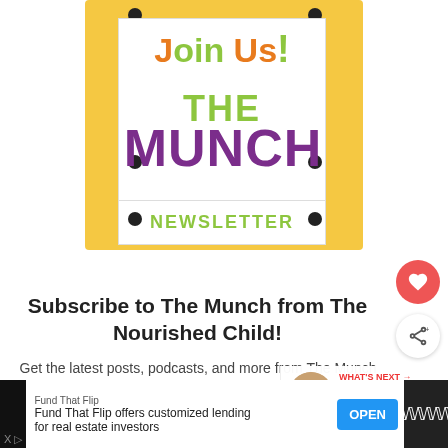[Figure (illustration): Newsletter signup graphic showing a hanging sign on a yellow/tan background. The sign reads 'Join Us! THE MUNCH NEWSLETTER' in colorful text. 'Join Us!' is in orange and green, 'THE' in green, 'MUNCH' in purple, and 'NEWSLETTER' in green.]
Subscribe to The Munch from The Nourished Child!
Get the latest posts, podcasts, and more from The Munch straight to your inbox!
[Figure (screenshot): What's Next overlay showing a circular avatar photo of a person and text 'WHAT'S NEXT → Child Temperame...']
Your Email...
[Figure (infographic): Advertisement bar at the bottom of the page. Black background with white content area. Text: 'Fund That Flip' / 'Fund That Flip offers customized lending for real estate investors'. Blue OPEN button. Ad icon with three W dots on right.]